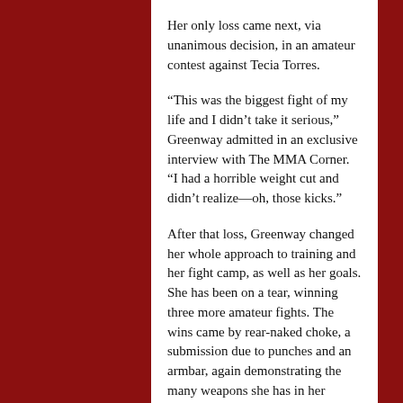Her only loss came next, via unanimous decision, in an amateur contest against Tecia Torres.
“This was the biggest fight of my life and I didn’t take it serious,” Greenway admitted in an exclusive interview with The MMA Corner. “I had a horrible weight cut and didn’t realize—oh, those kicks.”
After that loss, Greenway changed her whole approach to training and her fight camp, as well as her goals. She has been on a tear, winning three more amateur fights. The wins came by rear-naked choke, a submission due to punches and an armbar, again demonstrating the many weapons she has in her arsenal. Those fights were but stepping stones to her dream of following in Torres’ footsteps. Greenway wanted Invicta FC to be her fight home, and so she made it happen.
“It’s hard to find fights in North Carolina,” she explained. “I was offered a couple of pro fights...